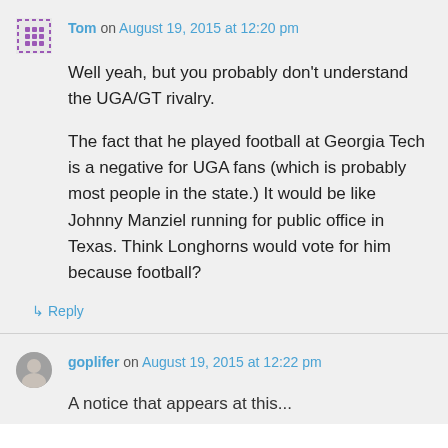Tom on August 19, 2015 at 12:20 pm
Well yeah, but you probably don't understand the UGA/GT rivalry.
The fact that he played football at Georgia Tech is a negative for UGA fans (which is probably most people in the state.) It would be like Johnny Manziel running for public office in Texas. Think Longhorns would vote for him because football?
↳ Reply
goplifer on August 19, 2015 at 12:22 pm